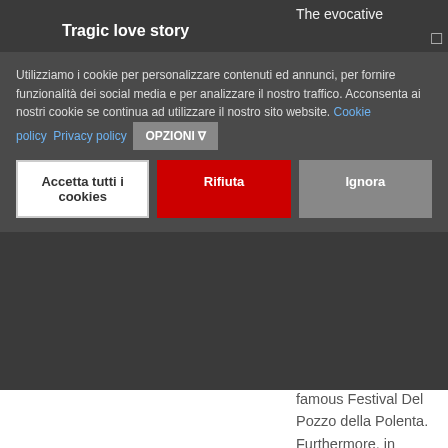Tragic love story
Utilizziamo i cookie per personalizzare contenuti ed annunci, per fornire funzionalità dei social media e per analizzare il nostro traffico. Acconsenta ai nostri cookie se continua ad utilizzare il nostro sito website. Cookie policy  Privacy policy  OPZIONI
Accetta tutti i cookies  |  Rifiuta  |  Ignora
The evocative ...water dell (find important poets. every year in July ...comes the scene of the famous Festival Del Pozzo della Polenta. Furthermore, in November Corinaldo becomes the scene of the most terrifying Halloween party.